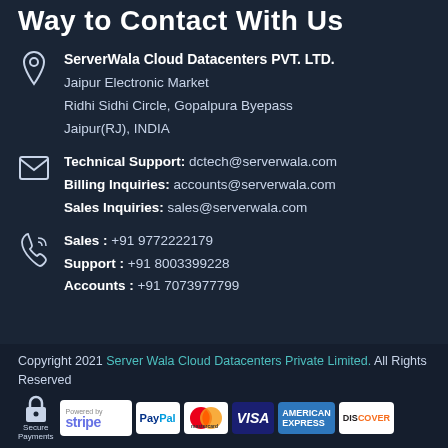Way to Contact With Us
ServerWala Cloud Datacenters PVT. LTD.
Jaipur Electronic Market
Ridhi Sidhi Circle, Gopalpura Byepass
Jaipur(RJ), INDIA
Technical Support: dctech@serverwala.com
Billing Inquiries: accounts@serverwala.com
Sales Inquiries: sales@serverwala.com
Sales : +91 9772222179
Support : +91 8003399228
Accounts : +91 7073977799
Copyright 2021 Server Wala Cloud Datacenters Private Limited. All Rights Reserved
Secure Payments [Stripe] [PayPal] [MasterCard] [VISA] [Amex] [Discover]